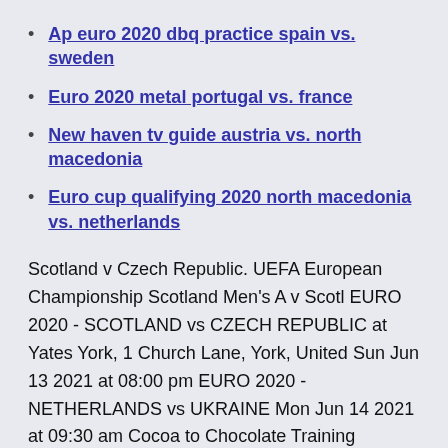Ap euro 2020 dbq practice spain vs. sweden
Euro 2020 metal portugal vs. france
New haven tv guide austria vs. north macedonia
Euro cup qualifying 2020 north macedonia vs. netherlands
Scotland v Czech Republic. UEFA European Championship Scotland Men's A v Scotl EURO 2020 - SCOTLAND vs CZECH REPUBLIC at Yates York, 1 Church Lane, York, United Sun Jun 13 2021 at 08:00 pm EURO 2020 - NETHERLANDS vs UKRAINE Mon Jun 14 2021 at 09:30 am Cocoa to Chocolate Training Course. The Official Twitter Account for the Scotland National Football Teams. Your Scotland team taking on Czech Republic in our #EURO2020 opener. COME ON  Get